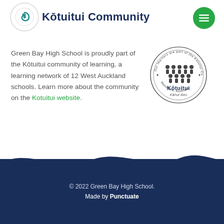Kōtuitui Community
Green Bay High School is proudly part of the Kōtuitui community of learning, a learning network of 12 West Auckland schools. Learn more about the community on the Kotuitui website.
[Figure (logo): Kōtuitui Kāhui Ako circular seal/stamp logo with stylized figures and text around the border reading 'Our learners are part of the Kōtuitui Community of Learning, Waitakere, Auckland']
© 2022 Green Bay High School. Made by Punctuate